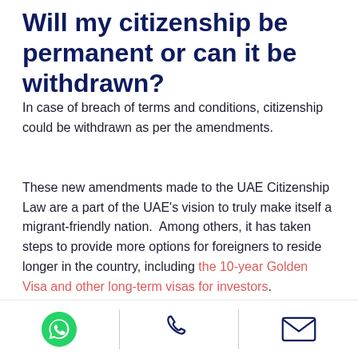Will my citizenship be permanent or can it be withdrawn?
In case of breach of terms and conditions, citizenship could be withdrawn as per the amendments.
These new amendments made to the UAE Citizenship Law are a part of the UAE’s vision to truly make itself a migrant-friendly nation. Among others, it has taken steps to provide more options for foreigners to reside longer in the country, including the 10-year Golden Visa and other long-term visas for investors.
[Figure (infographic): Footer bar with three contact icons separated by vertical dividers: WhatsApp (green circle with phone handset), phone (dark blue handset), and email (dark blue envelope outline).]